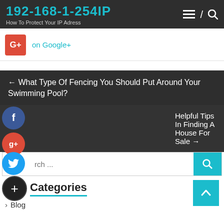192-168-1-254IP
How To Protect Your IP Adress
on Google+
← What Type Of Fencing You Should Put Around Your Swimming Pool?
Helpful Tips In Finding A House For Sale →
Categories
Blog